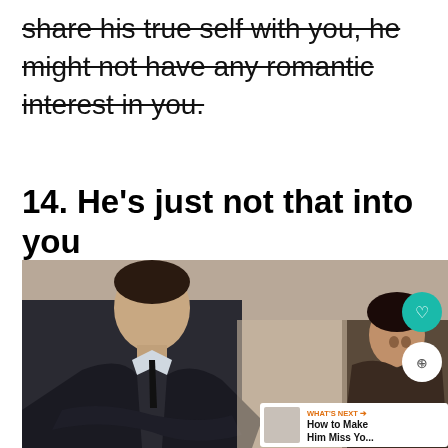know the real him because he does not share his true self with you, he might not have any romantic interest in you.
14. He's just not that into you
[Figure (photo): A man in a dark suit sitting with arms crossed and looking away, with a woman in the background looking concerned. UI overlays including a heart button, share button, and a 'What's Next' card showing 'How to Make Him Miss Yo...']